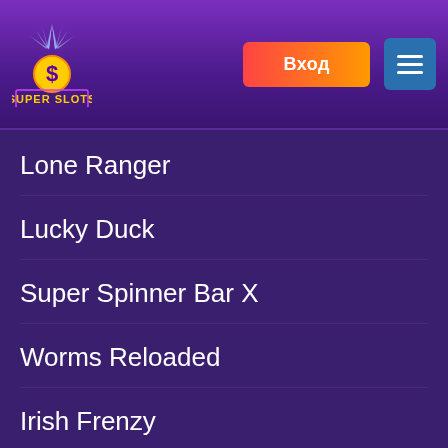[Figure (logo): Super Slots casino logo with dollar sign and star burst, purple header with login button and hamburger menu]
Lone Ranger
Lucky Duck
Super Spinner Bar X
Worms Reloaded
Irish Frenzy
Cop the Lot Safegrabber
Tiki Treasures Megaways